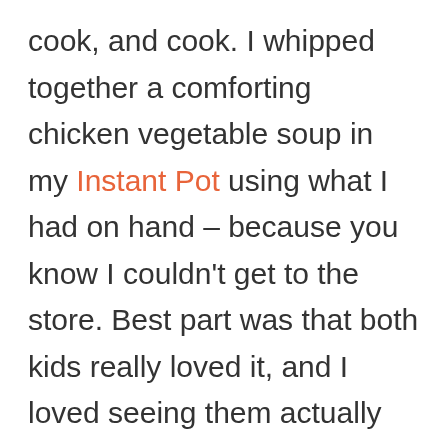cook, and cook. I whipped together a comforting chicken vegetable soup in my Instant Pot using what I had on hand – because you know I couldn't get to the store. Best part was that both kids really loved it, and I loved seeing them actually eat their veggies!

One little note – you can definitely use fresh chicken. If you do, put the chicken in your soup in the IP for 10 minutes and then release. Remove chicken and chop. Add back to the pot and then cook for another 5 minutes high pressure with a